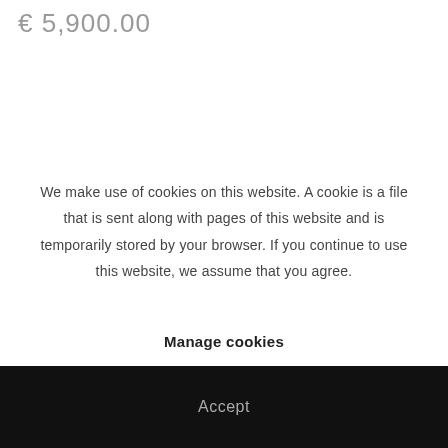€ 5,900.00
We make use of cookies on this website. A cookie is a file that is sent along with pages of this website and is temporarily stored by your browser. If you continue to use this website, we assume that you agree.
Manage cookies
Accept